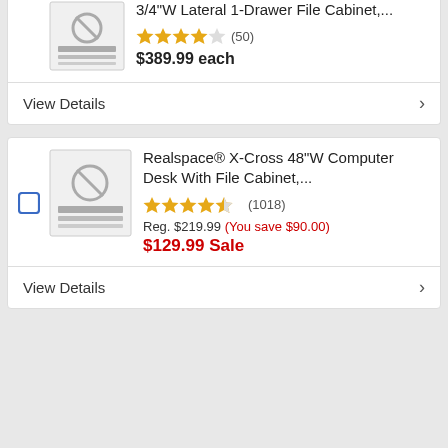[Figure (screenshot): Product thumbnail for lateral file cabinet]
3/4"W Lateral 1-Drawer File Cabinet,...
★★★★☆ (50)
$389.99 each
View Details
[Figure (screenshot): Product thumbnail for computer desk with file cabinet]
Realspace® X-Cross 48"W Computer Desk With File Cabinet,...
★★★★★ (1018)
Reg. $219.99 (You save $90.00)
$129.99 Sale
View Details